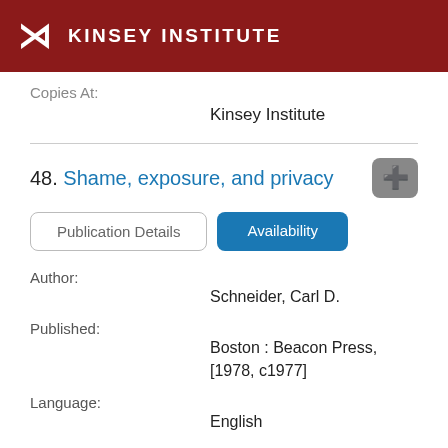KINSEY INSTITUTE
Copies At:
Kinsey Institute
48. Shame, exposure, and privacy
Publication Details | Availability
Author:
Schneider, Carl D.
Published:
Boston : Beacon Press, [1978, c1977]
Language:
English
Format: